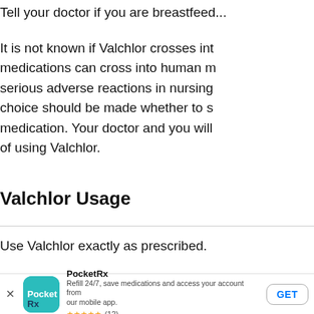Tell your doctor if you are breastfeeding.
It is not known if Valchlor crosses into... medications can cross into human m... serious adverse reactions in nursing... choice should be made whether to s... medication. Your doctor and you will... of using Valchlor.
Valchlor Usage
Use Valchlor exactly as prescribed.
Please follow these instructions whe...
[Figure (other): PocketRx app banner with app icon, name, description, star rating (12 reviews), and GET button]